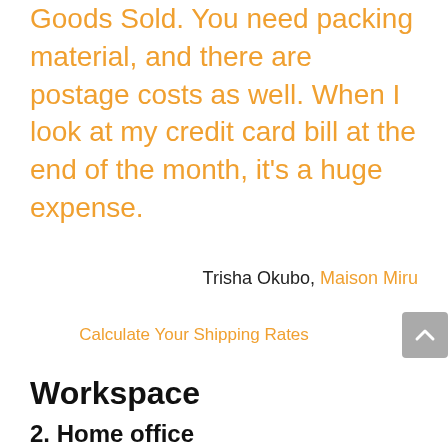Goods Sold. You need packing material, and there are postage costs as well. When I look at my credit card bill at the end of the month, it's a huge expense.
Trisha Okubo, Maison Miru
Calculate Your Shipping Rates
Workspace
2. Home office